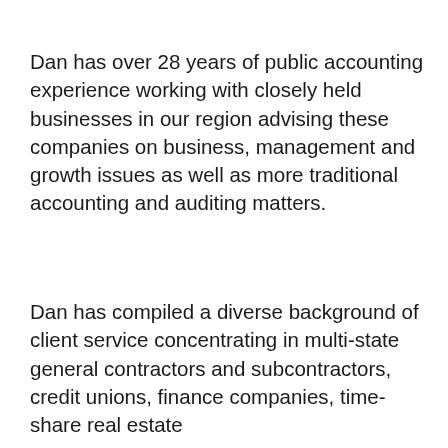Dan has over 28 years of public accounting experience working with closely held businesses in our region advising these companies on business, management and growth issues as well as more traditional accounting and auditing matters.
Dan has compiled a diverse background of client service concentrating in multi-state general contractors and subcontractors, credit unions, finance companies, time-share real estate